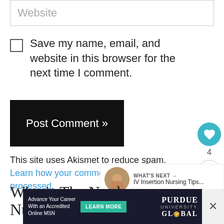Website
Save my name, email, and website in this browser for the next time I comment.
Post Comment »
This site uses Akismet to reduce spam. Learn how your comment data is processed.
[Figure (infographic): Heart/like button widget showing a teal heart icon with count 4, and a share icon below]
[Figure (infographic): What's Next panel showing thumbnail image and text: IV Insertion Nursing Tips...]
Who is The Nerdy Nurse?
[Figure (infographic): Purdue University Global advertisement banner with Learn More button]